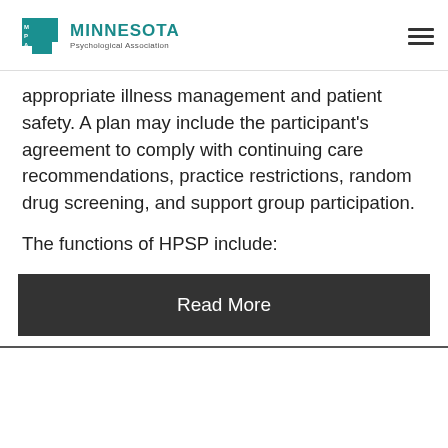[Figure (logo): Minnesota Psychological Association logo with teal Minnesota state shape and MPA letters, followed by organization name text]
appropriate illness management and patient safety. A plan may include the participant’s agreement to comply with continuing care recommendations, practice restrictions, random drug screening, and support group participation.
The functions of HPSP include:
Read More